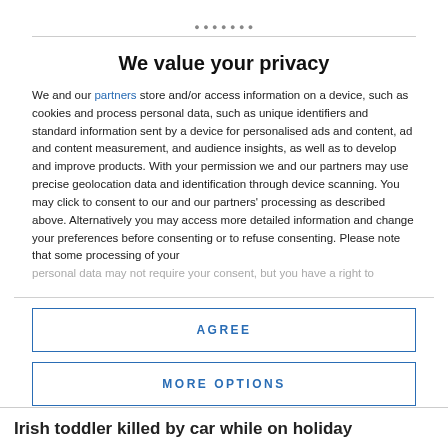We value your privacy
We and our partners store and/or access information on a device, such as cookies and process personal data, such as unique identifiers and standard information sent by a device for personalised ads and content, ad and content measurement, and audience insights, as well as to develop and improve products. With your permission we and our partners may use precise geolocation data and identification through device scanning. You may click to consent to our and our partners' processing as described above. Alternatively you may access more detailed information and change your preferences before consenting or to refuse consenting. Please note that some processing of your personal data may not require your consent, but you have a right to
AGREE
MORE OPTIONS
Irish toddler killed by car while on holiday